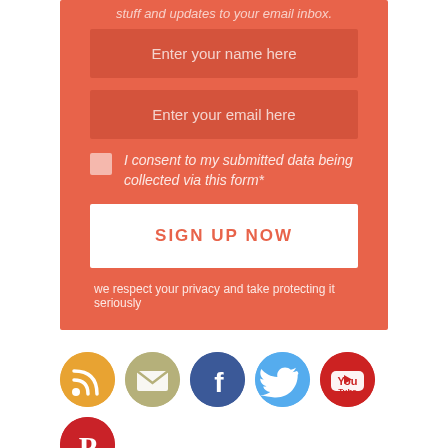stuff and updates to your email inbox.
Enter your name here
Enter your email here
I consent to my submitted data being collected via this form*
SIGN UP NOW
we respect your privacy and take protecting it seriously
[Figure (infographic): Social media icon buttons: RSS (orange), Email (olive/tan), Facebook (blue), Twitter (light blue), YouTube (red), Pinterest (red)]